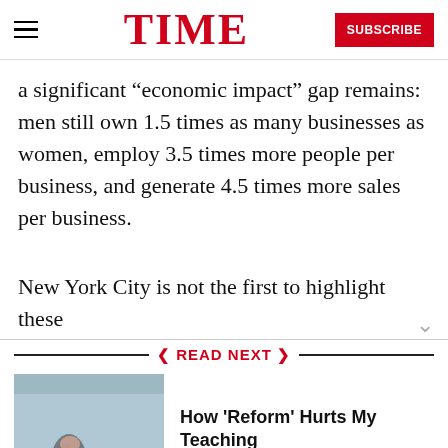TIME | SUBSCRIBE
a significant “economic impact” gap remains: men still own 1.5 times as many businesses as women, employ 3.5 times more people per business, and generate 4.5 times more sales per business.
New York City is not the first to highlight these
READ NEXT
How 'Reform' Hurts My Teaching